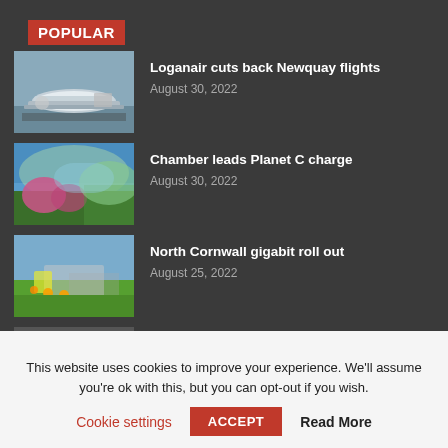POPULAR
Loganair cuts back Newquay flights
August 30, 2022
Chamber leads Planet C charge
August 30, 2022
North Cornwall gigabit roll out
August 25, 2022
Treveth seeking microgrid, IV
This website uses cookies to improve your experience. We'll assume you're ok with this, but you can opt-out if you wish.
Cookie settings   ACCEPT   Read More